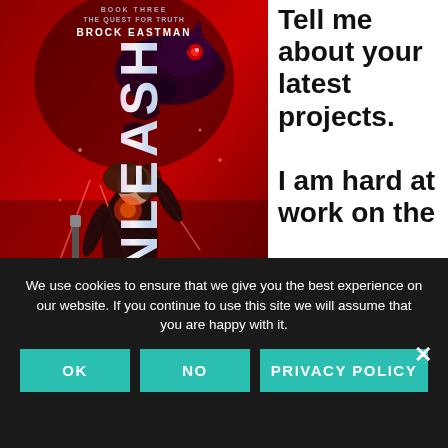[Figure (illustration): Book cover of 'Unleash' by Brock Eastman, Book Three of The Quest for Truth series. Red-toned sci-fi/fantasy cover showing a young woman in black holding a weapon, with a skeletal mechanical dragon creature above her. The title 'UNLEASH' is written vertically on the left in iridescent letters.]
Tell me about your latest projects. I am hard at work on the
We use cookies to ensure that we give you the best experience on our website. If you continue to use this site we will assume that you are happy with it.